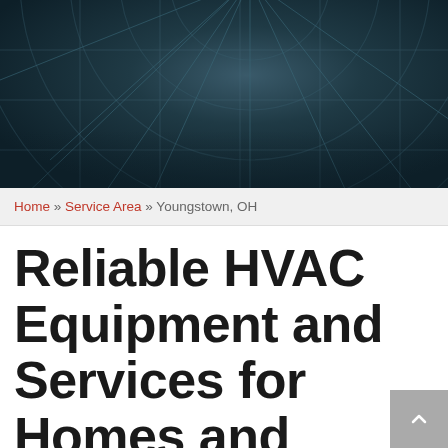[Figure (photo): Dark teal/slate close-up photo of an industrial HVAC fan or ventilation unit with circular grid pattern and radial blades, viewed from above]
Home » Service Area » Youngstown, OH
Reliable HVAC Equipment and Services for Homes and Businesses in Youngstown, OH